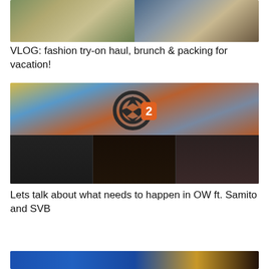[Figure (photo): Thumbnail image showing fashion try-on haul and packing for vacation, split into two panels]
VLOG: fashion try-on haul, brunch & packing for vacation!
[Figure (photo): Thumbnail showing Overwatch 2 logo overlay on game map, with three streamers wearing headsets in the lower half]
Lets talk about what needs to happen in OW ft. Samito and SVB
[Figure (screenshot): Partial thumbnail at bottom of page, partially cut off]